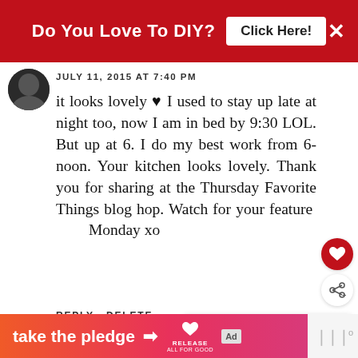Do You Love To DIY?  Click Here!
JULY 11, 2015 AT 7:40 PM
it looks lovely ♥ I used to stay up late at night too, now I am in bed by 9:30 LOL. But up at 6. I do my best work from 6-noon. Your kitchen looks lovely. Thank you for sharing at the Thursday Favorite Things blog hop. Watch for your feature Monday xo
REPLY   DELETE
▾ REPLIES
WHAT'S NEXT → When And Why Do You...
[Figure (infographic): Ad banner: take the pledge with arrow, RELEASE logo, ad marker, and sound wave icon]